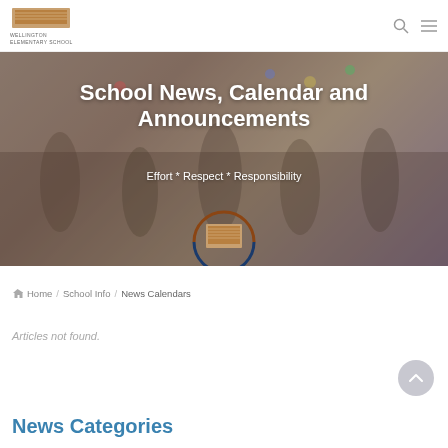Wellington Elementary School
[Figure (photo): School hero banner showing people gathered outside with balloons, overlaid with title text]
School News, Calendar and Announcements
Effort * Respect * Responsibility
Home / School Info / News Calendars
Articles not found.
News Categories